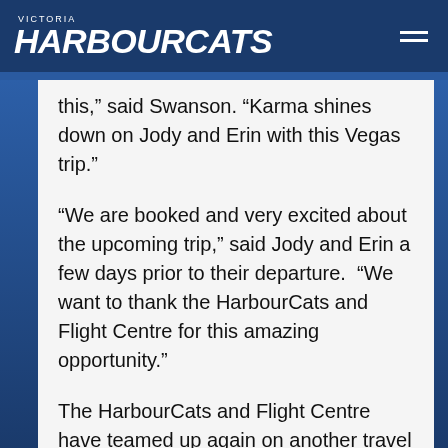VICTORIA HARBOURCATS
this,” said Swanson. “Karma shines down on Jody and Erin with this Vegas trip.”
“We are booked and very excited about the upcoming trip,” said Jody and Erin a few days prior to their departure.  “We want to thank the HarbourCats and Flight Centre for this amazing opportunity.”
The HarbourCats and Flight Centre have teamed up again on another travel prize for the 2019 season. Everyone who purchases our game day program ($2) and fills out the Flight Centre program